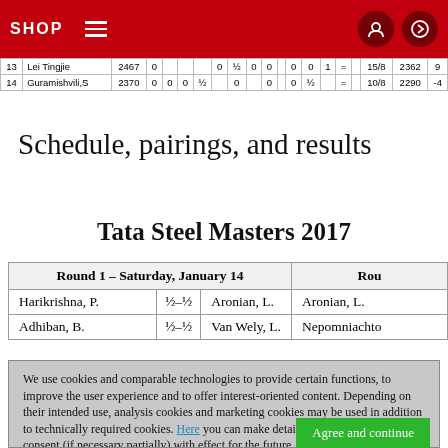SHOP navigation bar
| # | Name | Rtg | 1 | 2 | 3 | 4 | 5 | 6 | 7 | 8 | 9 | 10 | 11 | 12 | 13 | 14 | Pts | TPR | +/- |
| --- | --- | --- | --- | --- | --- | --- | --- | --- | --- | --- | --- | --- | --- | --- | --- | --- | --- | --- | --- |
| 13 | Lei Tingjie | 2467 | 0 |  |  |  | 0 | ½ | 0 | 0 |  | 0 | 0 | 1 | = |  | 15/8 | 2362 | 9 |
| 14 | Guramishvili,S | 2370 | 0 | 0 | 0 | ½ |  | 0 |  | 0 |  | 0 | ½ |  | = |  | 10/8 | 2290 | -4 |
Schedule, pairings, and results
Tata Steel Masters 2017
| Round 1 – Saturday, January 14 |  |  | Rou |
| --- | --- | --- | --- |
| Harikrishna, P. | ½–½ | Aronian, L. | Aronian, L. |
| Adhiban, B. | ½–½ | Van Wely, L. | Nepomniachto |
We use cookies and comparable technologies to provide certain functions, to improve the user experience and to offer interest-oriented content. Depending on their intended use, analysis cookies and marketing cookies may be used in addition to technically required cookies. Here you can make detailed settings or revoke your consent (if necessary partially) with effect for the future. Further information can be found in our data protection declaration.